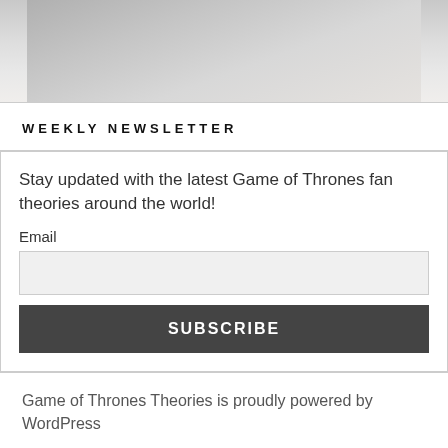[Figure (photo): Partially visible faded photo of a person, appearing washed out in light grays and whites]
WEEKLY NEWSLETTER
Stay updated with the latest Game of Thrones fan theories around the world!
Email
[Figure (other): Email input field (form element)]
SUBSCRIBE
Game of Thrones Theories is proudly powered by WordPress